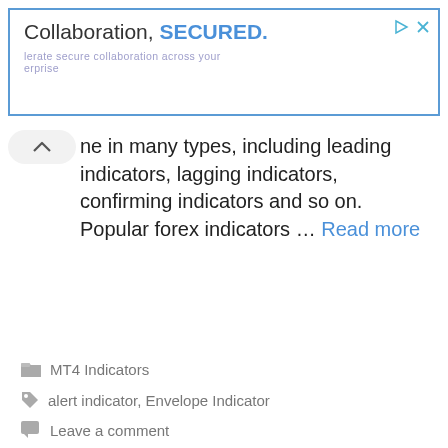[Figure (other): Advertisement banner with blue border. Text reads 'Collaboration, SECURED.' with subtitle 'lerate secure collaboration across your erprise'. Has play and close icons in top right.]
ne in many types, including leading indicators, lagging indicators, confirming indicators and so on. Popular forex indicators ... Read more
MT4 Indicators
alert indicator, Envelope Indicator
Leave a comment
Forex Envelopes Alert Modified Indicator
February 14, 2018 by forexmt4custome...